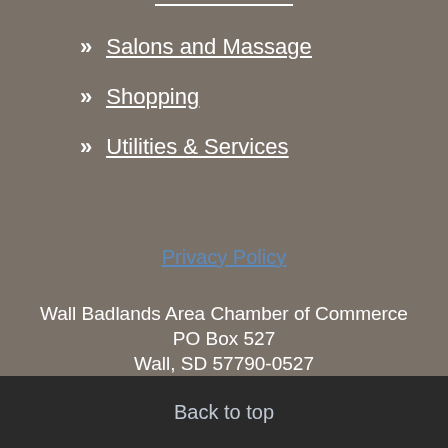» Salons and Massage
» Shopping
» Utilities & Services
Privacy Policy
Wall Badlands Area Chamber of Commerce
PO Box 527
Wall, SD 57790-0527
(605) 279-2665
1-888-852-9255
Back to top